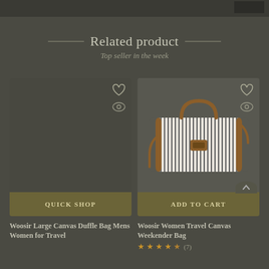Related product
Top seller in the week
[Figure (photo): Product card for Woosir Large Canvas Duffle Bag Mens Women for Travel with QUICK SHOP button]
[Figure (photo): Product card for Woosir Women Travel Canvas Weekender Bag showing a striped bag with brown leather trim, with ADD TO CART button]
Woosir Large Canvas Duffle Bag Mens Women for Travel
Woosir Women Travel Canvas Weekender Bag